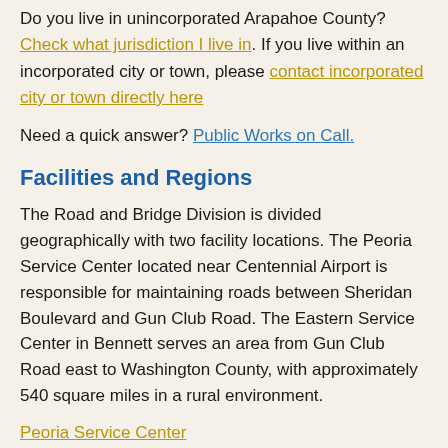Do you live in unincorporated Arapahoe County? Check what jurisdiction I live in. If you live within an incorporated city or town, please contact incorporated city or town directly here
Need a quick answer? Public Works on Call.
Facilities and Regions
The Road and Bridge Division is divided geographically with two facility locations. The Peoria Service Center located near Centennial Airport is responsible for maintaining roads between Sheridan Boulevard and Gun Club Road. The Eastern Service Center in Bennett serves an area from Gun Club Road east to Washington County, with approximately 540 square miles in a rural environment.
Peoria Service Center
7600 S. Peoria St.